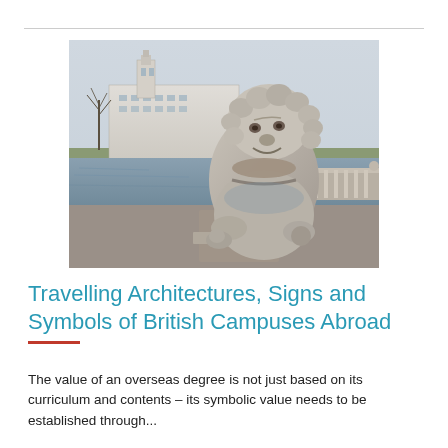[Figure (photo): A large stone Chinese guardian lion (foo dog) sculpture sitting on a pedestal, with a river, bare trees, and a large white classical building (university) visible in the background. Overcast winter day.]
Travelling Architectures, Signs and Symbols of British Campuses Abroad
The value of an overseas degree is not just based on its curriculum and contents – its symbolic value needs to be established through...